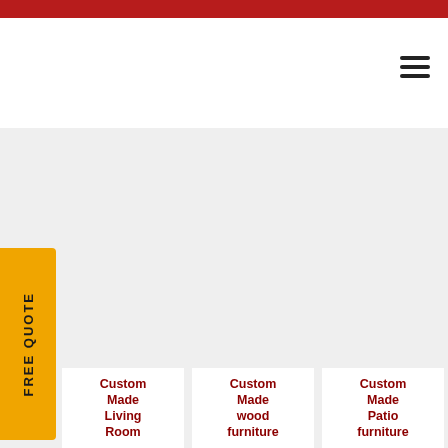[Figure (infographic): Orange vertical FREE QUOTE tab on left side of page]
Custom Made Living Room
Custom Made wood furniture
Custom Made Patio furniture